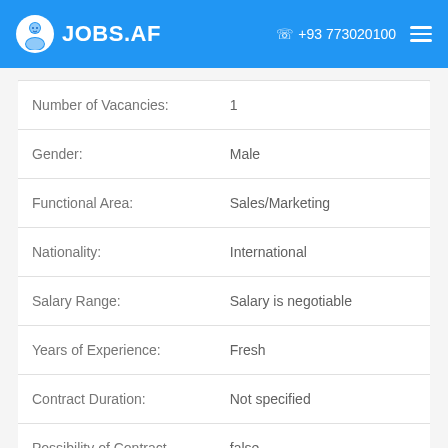JOBS.AF  +93 773020100
| Field | Value |
| --- | --- |
| Number of Vacancies: | 1 |
| Gender: | Male |
| Functional Area: | Sales/Marketing |
| Nationality: | International |
| Salary Range: | Salary is negotiable |
| Years of Experience: | Fresh |
| Contract Duration: | Not specified |
| Possibility of Contract Extension: | false |